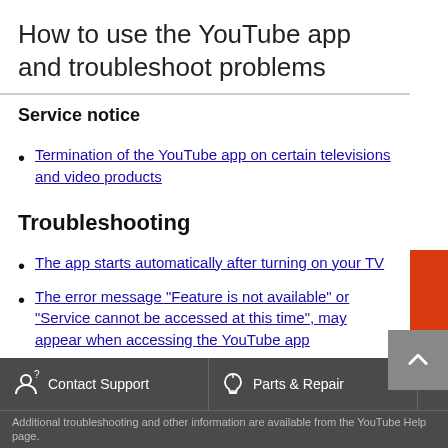How to use the YouTube app and troubleshoot problems
Service notice
Termination of the YouTube app on certain televisions and video products
Troubleshooting
The app starts automatically after turning on your TV
The error message "Feature is not available" or "Service cannot be accessed at this time", may appear when accessing the YouTube app
The YouTube app doesn't launch, freezes or an error message appears
Additional troubleshooting and other information are available from the YouTube Help page.